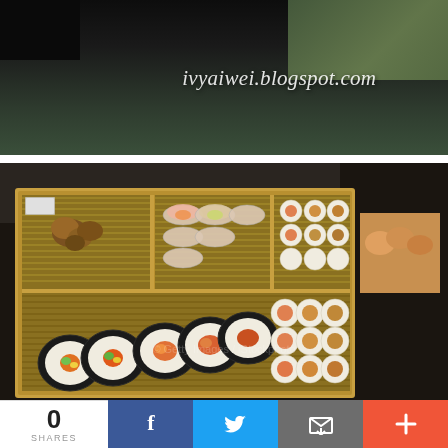[Figure (photo): Food photo showing a tray of assorted Japanese sushi rolls and spring rolls arranged on bamboo mats in wooden sectioned trays. The watermark text 'ivyaiwei.blogspot.com' appears over the top portion of the image.]
0
SHARES
[Figure (infographic): Social sharing bar with Facebook (f), Twitter (bird icon), Email (envelope icon), and plus (+) buttons in blue, light blue, grey, and red respectively.]